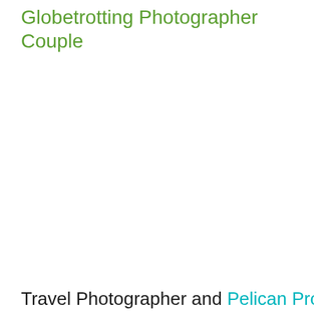Globetrotting Photographer Couple
Travel Photographer and Pelican Pro Chris